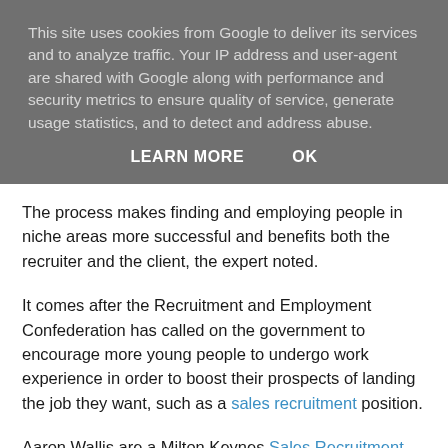This site uses cookies from Google to deliver its services and to analyze traffic. Your IP address and user-agent are shared with Google along with performance and security metrics to ensure quality of service, generate usage statistics, and to detect and address abuse.
LEARN MORE   OK
The process makes finding and employing people in niche areas more successful and benefits both the recruiter and the client, the expert noted.
It comes after the Recruitment and Employment Confederation has called on the government to encourage more young people to undergo work experience in order to boost their prospects of landing the job they want, such as a sales recruitment position.
Aaron Wallis are a Milton Keynes Sales Recruitment agency with a unique service offering that includes 12 months rebate. Psychometric profiling and online skills testing are also included within a fixed recruitment price.